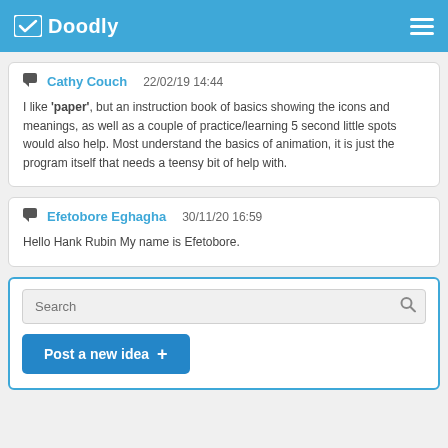Doodly
Cathy Couch   22/02/19 14:44
I like 'paper', but an instruction book of basics showing the icons and meanings, as well as a couple of practice/learning 5 second little spots would also help. Most understand the basics of animation, it is just the program itself that needs a teensy bit of help with.
Efetobore Eghagha   30/11/20 16:59
Hello Hank Rubin My name is Efetobore.
Search
Post a new idea +